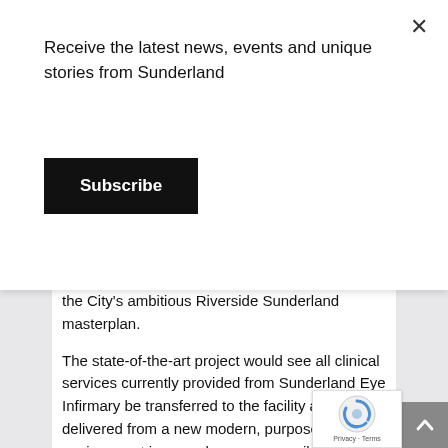Receive the latest news, events and unique stories from Sunderland
Subscribe
the City's ambitious Riverside Sunderland masterplan.
The state-of-the-art project would see all clinical services currently provided from Sunderland Eye Infirmary be transferred to the facility and be delivered from a new modern, purpose-built environment in a much more accessible City centre location.
As part of its plans, the Trust is also keen to continue expanding its specialist ophthalmology services in the community through its satellite hubs across South Tyneside, Sunderland and Durham, includi the introduction of a new clinic at Cleadon Park Primary Care Centre in South Shields.